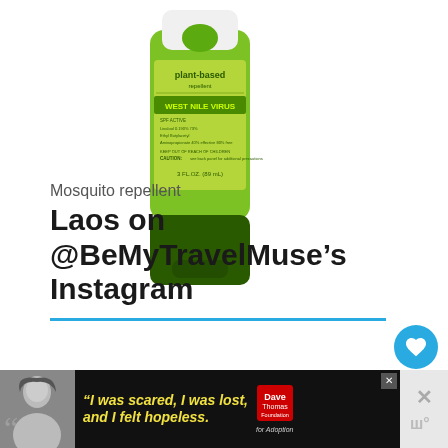[Figure (photo): Green plant-based mosquito repellent tube with white cap, labeled 'plant-based repellent' and 'WEST NILE VIRUS']
Mosquito repellent
Laos on @BeMyTravelMuse’s Instagram
[Figure (other): Heart like button (blue circle), like count 173, and share button below]
[Figure (other): WHAT'S NEXT arrow label with thumbnail and text 'The Cheapest Travel...']
[Figure (other): Advertisement banner: black background with woman photo, quote 'I was scared, I was lost, and I felt hopeless.' with Dave Thomas Foundation for Adoption logo]